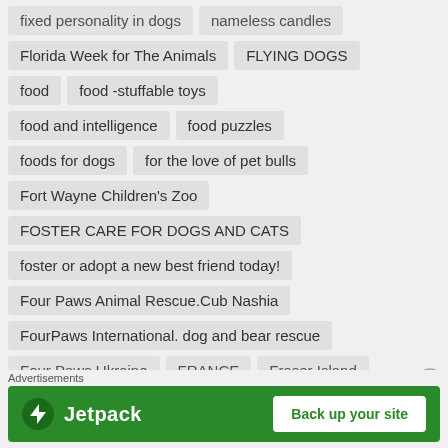fixed personality in dogs
nameless candles
Florida Week for The Animals
FLYING DOGS
food
food -stuffable toys
food and intelligence
food puzzles
foods for dogs
for the love of pet bulls
Fort Wayne Children's Zoo
FOSTER CARE FOR DOGS AND CATS
foster or adopt a new best friend today!
Four Paws Animal Rescue.Cub Nashia
FourPaws International. dog and bear rescue
Four Paws Ukraine
FRANCE
Fraser Island
Advertisements
[Figure (infographic): Jetpack advertisement banner with lightning bolt icon and 'Back up your site' button on green background]